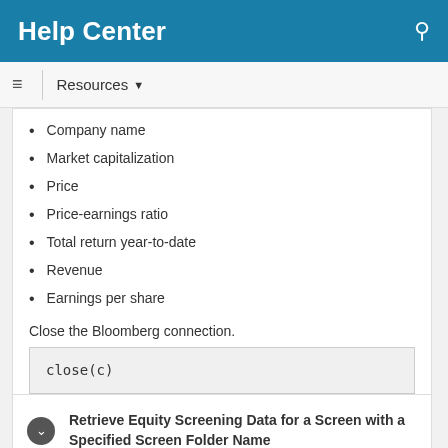Help Center
Company name
Market capitalization
Price
Price-earnings ratio
Total return year-to-date
Revenue
Earnings per share
Close the Bloomberg connection.
close(c)
Retrieve Equity Screening Data for a Screen with a Specified Screen Folder Name